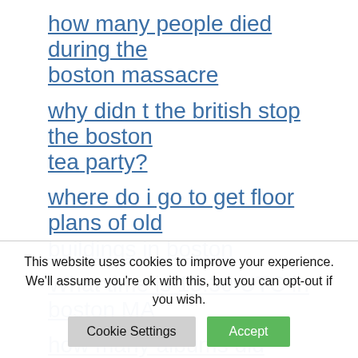how many people died during the boston massacre
why didn t the british stop the boston tea party?
where do i go to get floor plans of old buildings in boston
What time is 15:30 UTC in boston MA
how many albums did boston put out
what to do in the greater boston area
is the irish mob still active in boston
This website uses cookies to improve your experience. We'll assume you're ok with this, but you can opt-out if you wish.
Cookie Settings | Accept